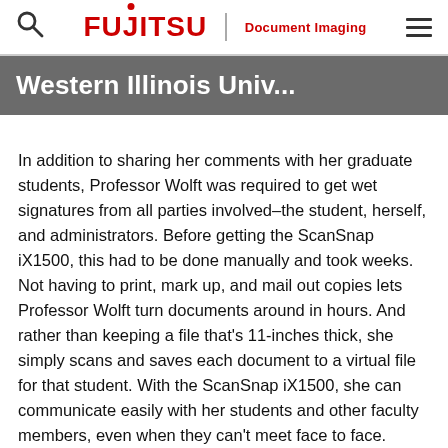FUJITSU Document Imaging
Western Illinois Univ...
In addition to sharing her comments with her graduate students, Professor Wolft was required to get wet signatures from all parties involved–the student, herself, and administrators. Before getting the ScanSnap iX1500, this had to be done manually and took weeks. Not having to print, mark up, and mail out copies lets Professor Wolft turn documents around in hours. And rather than keeping a file that's 11-inches thick, she simply scans and saves each document to a virtual file for that student. With the ScanSnap iX1500, she can communicate easily with her students and other faculty members, even when they can't meet face to face.
Looking ahead, Professor Wolft plans to use